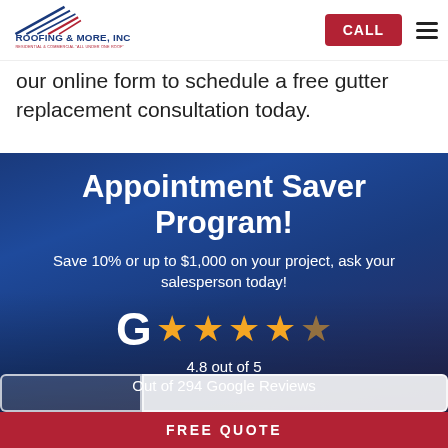[Figure (logo): Roofing & More, Inc. logo with blue and red roofline graphic and tagline 'Residential & Commercial All Under One Roof']
our online form to schedule a free gutter replacement consultation today.
[Figure (infographic): Appointment Saver Program promotional banner on blue background with Google rating stars showing 4.8 out of 5 from 294 Google Reviews]
FREE QUOTE